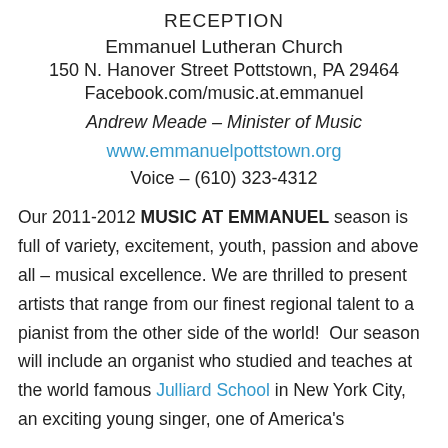RECEPTION
Emmanuel Lutheran Church
150 N. Hanover Street Pottstown, PA 29464
Facebook.com/music.at.emmanuel
Andrew Meade – Minister of Music
www.emmanuelpottstown.org
Voice – (610) 323-4312
Our 2011-2012 MUSIC AT EMMANUEL season is full of variety, excitement, youth, passion and above all – musical excellence. We are thrilled to present artists that range from our finest regional talent to a pianist from the other side of the world!  Our season will include an organist who studied and teaches at the world famous Julliard School in New York City, an exciting young singer, one of America's